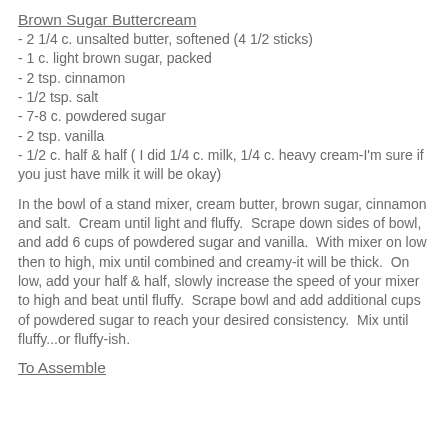Brown Sugar Buttercream
- 2 1/4 c. unsalted butter, softened (4 1/2 sticks)
- 1 c. light brown sugar, packed
- 2 tsp. cinnamon
- 1/2 tsp. salt
- 7-8 c. powdered sugar
- 2 tsp. vanilla
- 1/2 c. half & half ( I did 1/4 c. milk, 1/4 c. heavy cream-I'm sure if you just have milk it will be okay)
In the bowl of a stand mixer, cream butter, brown sugar, cinnamon and salt.  Cream until light and fluffy.  Scrape down sides of bowl, and add 6 cups of powdered sugar and vanilla.  With mixer on low then to high, mix until combined and creamy-it will be thick.  On low, add your half & half, slowly increase the speed of your mixer to high and beat until fluffy.  Scrape bowl and add additional cups of powdered sugar to reach your desired consistency.  Mix until fluffy...or fluffy-ish.
To Assemble